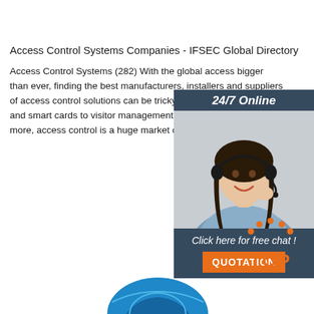Access Control Systems Companies - IFSEC Global Directory
Access Control Systems (282) With the global access bigger than ever, finding the best manufacturers, installers and suppliers of access control solutions can be tricky. From facial recognition and smart cards to visitor management systems, cameras and more, access control is a huge market of essential security kit.
[Figure (illustration): Customer support chat widget showing a woman with a headset, a '24/7 Online' header, 'Click here for free chat!' text, and an orange QUOTATION button on a dark blue/grey background]
Get Price
[Figure (logo): Orange 'TOP' text with dots arranged in an arch above it, forming a 'back to top' button]
[Figure (illustration): Partial blue cloud/globe logo visible at bottom center of page]